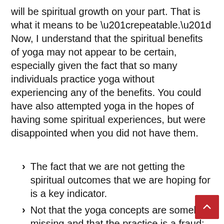will be spiritual growth on your part. That is what it means to be “repeatable.” Now, I understand that the spiritual benefits of yoga may not appear to be certain, especially given the fact that so many individuals practice yoga without experiencing any of the benefits. You could have also attempted yoga in the hopes of having some spiritual experiences, but were disappointed when you did not have them.
The fact that we are not getting the spiritual outcomes that we are hoping for is a key indicator.
Not that the yoga concepts are somehow missing and that the practice is a fraud; on the contrary, it is not.